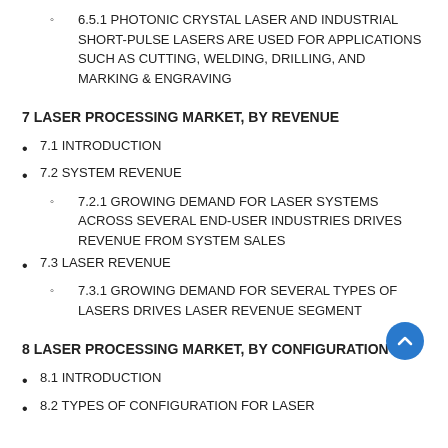6.5.1 PHOTONIC CRYSTAL LASER AND INDUSTRIAL SHORT-PULSE LASERS ARE USED FOR APPLICATIONS SUCH AS CUTTING, WELDING, DRILLING, AND MARKING & ENGRAVING
7 LASER PROCESSING MARKET, BY REVENUE
7.1 INTRODUCTION
7.2 SYSTEM REVENUE
7.2.1 GROWING DEMAND FOR LASER SYSTEMS ACROSS SEVERAL END-USER INDUSTRIES DRIVES REVENUE FROM SYSTEM SALES
7.3 LASER REVENUE
7.3.1 GROWING DEMAND FOR SEVERAL TYPES OF LASERS DRIVES LASER REVENUE SEGMENT
8 LASER PROCESSING MARKET, BY CONFIGURATION
8.1 INTRODUCTION
8.2 TYPES OF CONFIGURATION FOR LASER